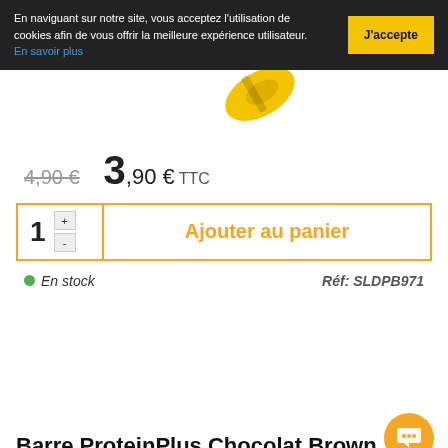En naviguant sur notre site, vous acceptez l'utilisation de cookies afin de vous offrir la meilleure expérience utilisateur. En savoir plus
J'accepte
[Figure (photo): Partial view of a yellow product package (energy bar/gel)]
4,90 €
3,90 € TTC
1  +  -  Ajouter au panier
En stock
Réf: SLDPB971
Barre ProteinPlus Chocolat Brown...